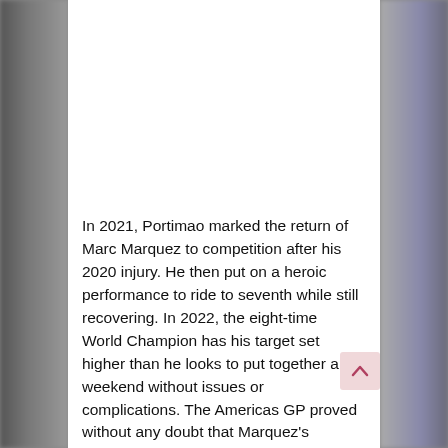[Figure (photo): Screenshot of a sports news article about Marc Marquez. A blurred motorsport/racing background is visible on the left and right sides, with a white article content card in the center.]
In 2021, Portimao marked the return of Marc Marquez to competition after his 2020 injury. He then put on a heroic performance to ride to seventh while still recovering. In 2022, the eight-time World Champion has his target set higher than he looks to put together a weekend without issues or complications. The Americas GP proved without any doubt that Marquez's incredible speed has not gone anywhere, and he will be a threat at each and every round. Having missed the Algarve GP due to injury last year, seventh place stands as Marquez's best premier class finish in Portugal.
Marquez arrives at round four with 21 points, 40 points shy of the World Championship lead.